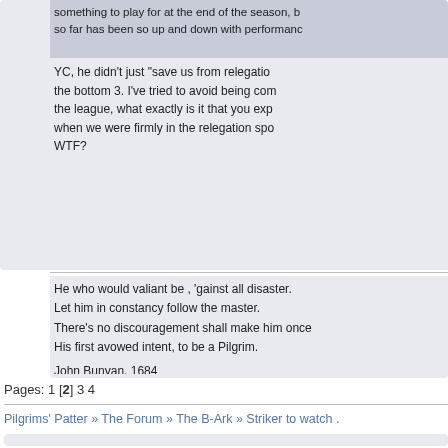something to play for at the end of the season, but so far has been so up and down with performance
YC, he didn't just "save us from relegation" the bottom 3. I've tried to avoid being com the league, what exactly is it that you exp when we were firmly in the relegation spo WTF?
He who would valiant be , 'gainst all disaster.
Let him in constancy follow the master.
There's no discouragement shall make him once
His first avowed intent, to be a Pilgrim.

John Bunyan, 1684
Pages: 1 [2] 3 4
Pilgrims' Patter » The Forum » The B-Ark » Striker to watch .